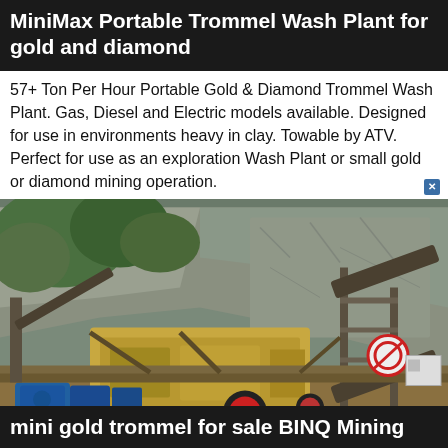MiniMax Portable Trommel Wash Plant for gold and diamond
57+ Ton Per Hour Portable Gold & Diamond Trommel Wash Plant. Gas, Diesel and Electric models available. Designed for use in environments heavy in clay. Towable by ATV. Perfect for use as an exploration Wash Plant or small gold or diamond mining operation.
[Figure (photo): Photograph of a mining wash plant or crushing equipment at a quarry site with rocky cliff background, conveyor belts, yellow machinery, blue electric motors, and industrial steel frame structures.]
mini gold trommel for sale BINQ Mining